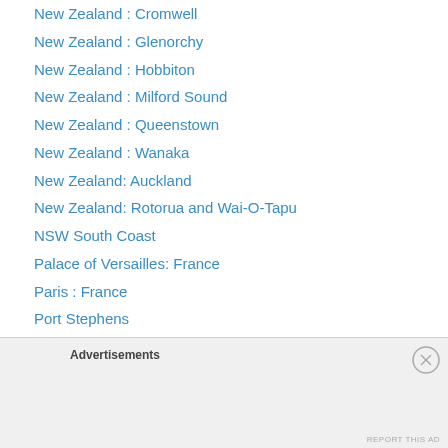New Zealand : Cromwell
New Zealand : Glenorchy
New Zealand : Hobbiton
New Zealand : Milford Sound
New Zealand : Queenstown
New Zealand : Wanaka
New Zealand: Auckland
New Zealand: Rotorua and Wai-O-Tapu
NSW South Coast
Palace of Versailles: France
Paris : France
Port Stephens
Prague: Czech Republic
Rome : Italy
Sharjah and Ajman – UAE
Sikkim : India
Advertisements
REPORT THIS AD